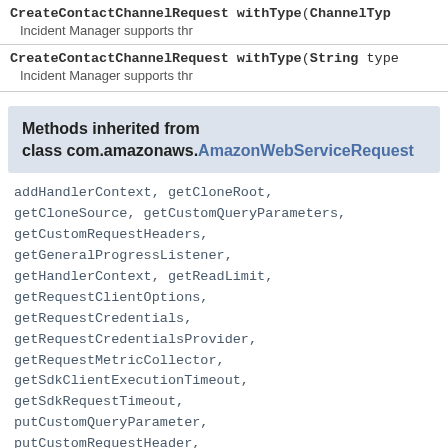CreateContactChannelRequest withType(ChannelType type) — Incident Manager supports thr
CreateContactChannelRequest withType(String type) — Incident Manager supports thr
Methods inherited from class com.amazonaws.AmazonWebServiceRequest
addHandlerContext, getCloneRoot, getCloneSource, getCustomQueryParameters, getCustomRequestHeaders, getGeneralProgressListener, getHandlerContext, getReadLimit, getRequestClientOptions, getRequestCredentials, getRequestCredentialsProvider, getRequestMetricCollector, getSdkClientExecutionTimeout, getSdkRequestTimeout, putCustomQueryParameter, putCustomRequestHeader, setGeneralProgressListener, setRequestCredentials